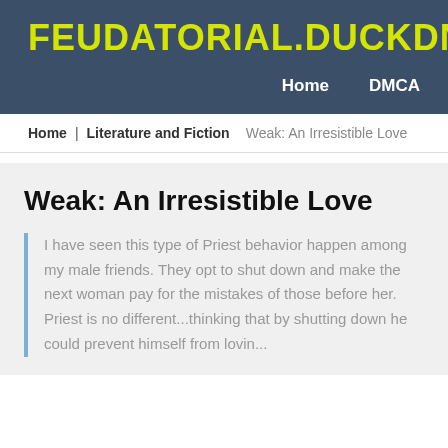FEUDATORIAL.DUCKDNS.ORG
Home   DMCA
Home  Literature and Fiction  Weak: An Irresistible Love
Weak: An Irresistible Love
I have seen this type of Priest behavior happen among my male friends. They opt to shut down and make the next woman pay for the mistakes of those before her. Priest is no different...thinking that by shutting down he could prevent himself from lovin...